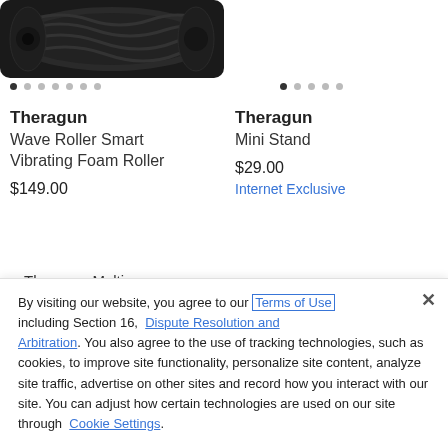[Figure (photo): Dark textured foam roller product image, partially visible at top of page]
• • • • • • •
• • • • •
Theragun
Wave Roller Smart Vibrating Foam Roller
$149.00
Theragun
Mini Stand
$29.00
Internet Exclusive
[Figure (photo): Theragun Multi-purpose Yoga & Fitness product image placeholder]
By visiting our website, you agree to our Terms of Use including Section 16, Dispute Resolution and Arbitration. You also agree to the use of tracking technologies, such as cookies, to improve site functionality, personalize site content, analyze site traffic, advertise on other sites and record how you interact with our site. You can adjust how certain technologies are used on our site through Cookie Settings.